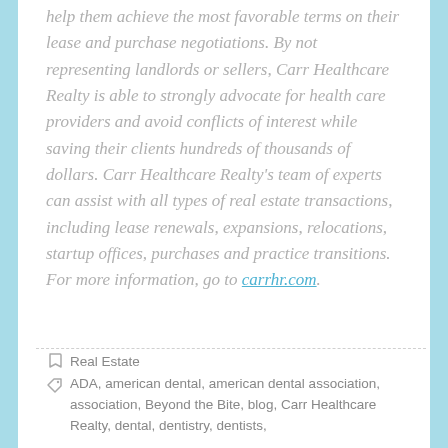help them achieve the most favorable terms on their lease and purchase negotiations. By not representing landlords or sellers, Carr Healthcare Realty is able to strongly advocate for health care providers and avoid conflicts of interest while saving their clients hundreds of thousands of dollars. Carr Healthcare Realty's team of experts can assist with all types of real estate transactions, including lease renewals, expansions, relocations, startup offices, purchases and practice transitions. For more information, go to carrhr.com.
Real Estate
ADA, american dental, american dental association, association, Beyond the Bite, blog, Carr Healthcare Realty, dental, dentistry, dentists,